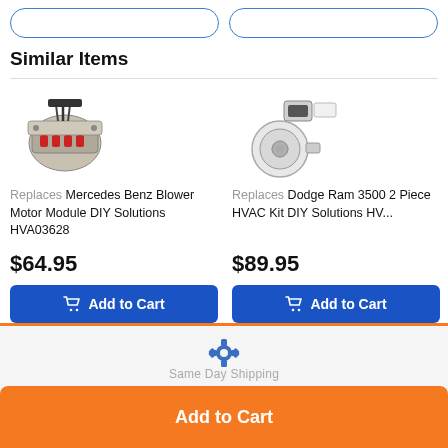Similar Items
[Figure (photo): Blower motor module product photo]
Replaces Mercedes Benz Blower Motor Module DIY Solutions HVA03628
$64.95
[Figure (photo): Dodge Ram HVAC kit product photo with resistor and blower motor parts]
Replaces Dodge Ram 3500 2 Piece HVAC Kit DIY Solutions HV...
$89.95
Add to Cart
Add to Cart
[Figure (other): Gear/settings icon above Same Day Shipping section]
Add to Cart
Same Day Shipping